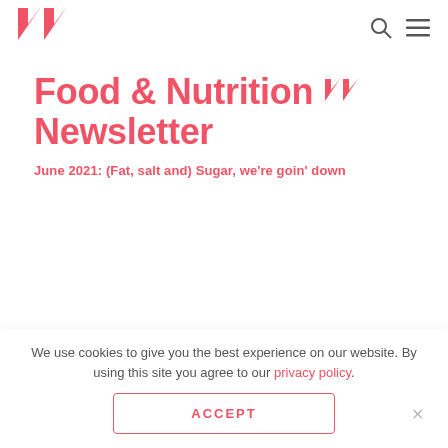Food & Nutrition Newsletter — site header with logo and nav icons
Food & Nutrition Newsletter
June 2021: (Fat, salt and) Sugar, we're goin' down
30 JUNE 2021
We use cookies to give you the best experience on our website. By using this site you agree to our privacy policy.
ACCEPT